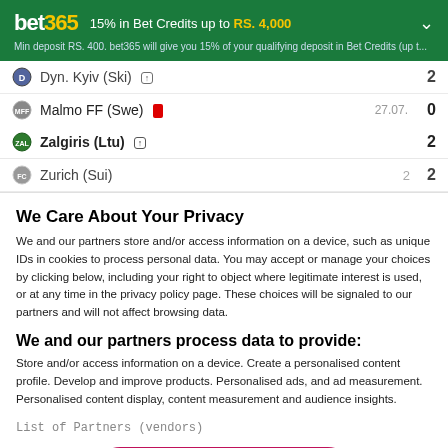[Figure (screenshot): bet365 promotional banner: '15% in Bet Credits up to RS. 4,000' with green background. Subtext: 'Min deposit RS. 400. bet365 will give you 15% of your qualifying deposit in Bet Credits (up t...']
Dyn. Kyiv (Ski) [up arrow] ... 2
Malmo FF (Swe) [red card]  0  27.07.
Zalgiris (Ltu) [up arrow]  2
Zurich (Sui)  2  2
We Care About Your Privacy
We and our partners store and/or access information on a device, such as unique IDs in cookies to process personal data. You may accept or manage your choices by clicking below, including your right to object where legitimate interest is used, or at any time in the privacy policy page. These choices will be signaled to our partners and will not affect browsing data.
We and our partners process data to provide:
Store and/or access information on a device. Create a personalised content profile. Develop and improve products. Personalised ads, and ad measurement. Personalised content display, content measurement and audience insights.
List of Partners (vendors)
I Accept
Show Purposes